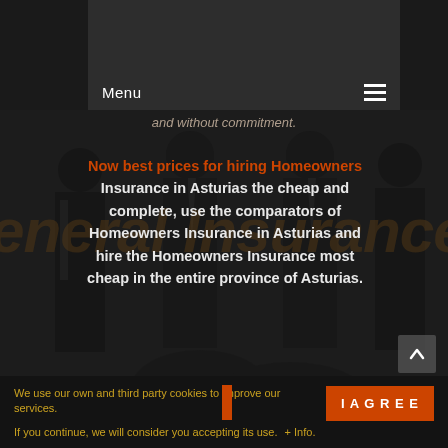Menu
and without commitment.
Now best prices for hiring Homeowners Insurance in Asturias the cheap and complete, use the comparators of Homeowners Insurance in Asturias and hire the Homeowners Insurance most cheap in the entire province of Asturias.
[Figure (screenshot): Background dark photo of people in suits shaking hands, partially visible, with a large watermark text 'General Insurance Group Spa' overlaid in dark orange]
We use our own and third party cookies to improve our services. If you continue, we will consider you accepting its use. + Info.